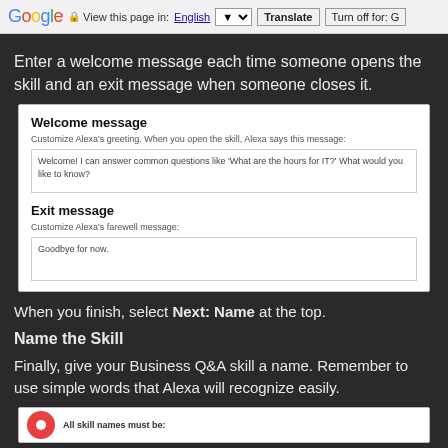Google  View this page in: English [▼]  Translate  Turn off for: G
Enter a welcome message each time someone opens the skill and an exit message when someone closes it.
[Figure (screenshot): UI card showing Welcome message section with text input containing 'Welcome! I can answer common questions like What are the hours for IT? What would you like to know?' and Exit message section with text input containing 'Goodbye for now.']
When you finish, select Next: Name at the top.
Name the Skill
Finally, give your Business Q&A skill a name. Remember to use simple words that Alexa will recognize easily.
[Figure (screenshot): Bottom of a UI card showing Alexa logo (red circle) and text 'All skill names must be:']